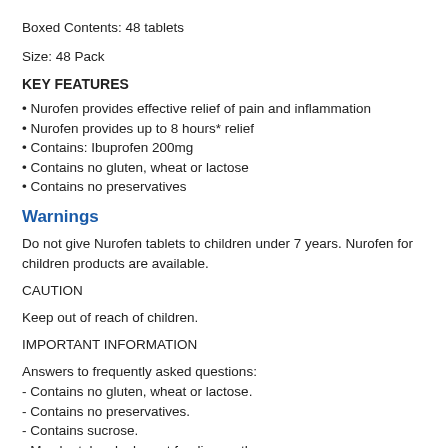Boxed Contents: 48 tablets
Size: 48 Pack
KEY FEATURES
• Nurofen provides effective relief of pain and inflammation
• Nurofen provides up to 8 hours* relief
• Contains: Ibuprofen 200mg
• Contains no gluten, wheat or lactose
• Contains no preservatives
Warnings
Do not give Nurofen tablets to children under 7 years. Nurofen for children products are available.
CAUTION
Keep out of reach of children.
IMPORTANT INFORMATION
Answers to frequently asked questions:
- Contains no gluten, wheat or lactose.
- Contains no preservatives.
- Contains sucrose.
- May be taken by breast feeding mothers.
- Most asthmatics can take Nurofen, but if you are sensitive to ibuprofen,